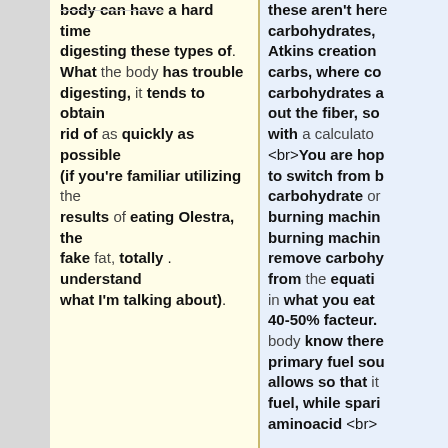body can have a hard time digesting these types of. What the body has trouble digesting, it tends to obtain rid of as quickly as possible (if you're familiar utilizing the results of eating Olestra, the fake fat, totally . understand what I'm talking about).
these aren't here carbohydrates, Atkins creation carbs, where co carbohydrates a out the fiber, so with a calculato <br>You are hop to switch from b carbohydrate or burning machin burning machin remove carbohy from the equati in what you eat 40-50% facteur. body know there primary fuel sou allows so that it fuel, while spari aminoacid <br>